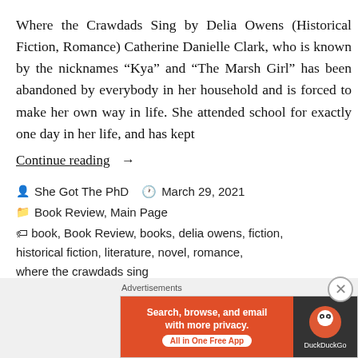Where the Crawdads Sing by Delia Owens (Historical Fiction, Romance) Catherine Danielle Clark, who is known by the nicknames “Kya” and “The Marsh Girl” has been abandoned by everybody in her household and is forced to make her own way in life. She attended school for exactly one day in her life, and has kept
Continue reading  →
• She Got The PhD   ⏰ March 29, 2021
📁 Book Review, Main Page
🏷️ book, Book Review, books, delia owens, fiction, historical fiction, literature, novel, romance, where the crawdads sing
[Figure (screenshot): DuckDuckGo advertisement banner: orange left panel with text 'Search, browse, and email with more privacy. All in One Free App' and dark right panel with DuckDuckGo logo]